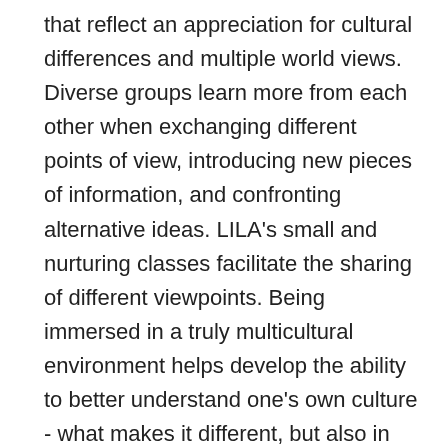that reflect an appreciation for cultural differences and multiple world views. Diverse groups learn more from each other when exchanging different points of view, introducing new pieces of information, and confronting alternative ideas. LILA's small and nurturing classes facilitate the sharing of different viewpoints. Being immersed in a truly multicultural environment helps develop the ability to better understand one's own culture - what makes it different, but also in which ways it is similar. This, in turn, helps maintain a strong sense of one's own background. Teachers, staff and students come from all over the world, each bringing their own experiences and perspectives. Our students study and live in a world community